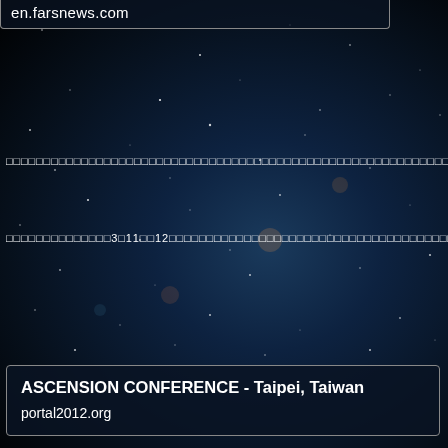en.farsnews.com
□□□□□□□□□□□□□□□□□□□□□□□□□□□□□□□□□□□□□□□□□□□□□□□□□□□□□□□□□□□□□□□□□
□□□□□□□□□□□□□□3□11□□12□□□□□□□□□□□□□□□□□□□□□□□□□□□□□□□□□□□□□□□□□□□□□
ASCENSION CONFERENCE - Taipei, Taiwan
portal2012.org